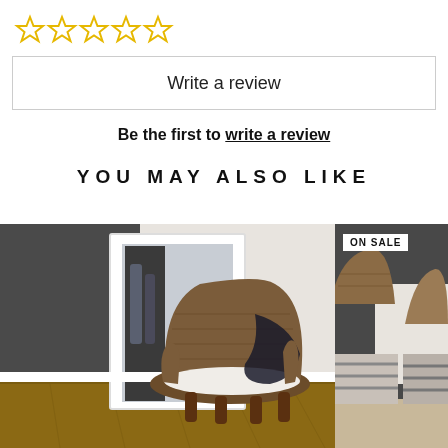[Figure (other): Five empty star rating icons (outlined, yellow stroke, no fill)]
Write a review
Be the first to write a review
YOU MAY ALSO LIKE
[Figure (photo): Interior room photo showing a wicker armchair with white cushion and dark throw blanket, a large white-framed floor mirror reflecting a coat rack with hanging jackets, hardwood flooring and white baseboards]
[Figure (photo): Partial photo of wicker dining chairs with striped fabric cushions against a dark wall, with ON SALE badge overlay]